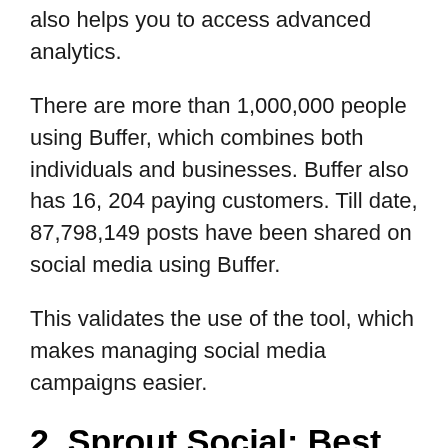also helps you to access advanced analytics.
There are more than 1,000,000 people using Buffer, which combines both individuals and businesses. Buffer also has 16, 204 paying customers. Till date, 87,798,149 posts have been shared on social media using Buffer.
This validates the use of the tool, which makes managing social media campaigns easier.
2. Sprout Social: Best Customer Relationship Management Tool